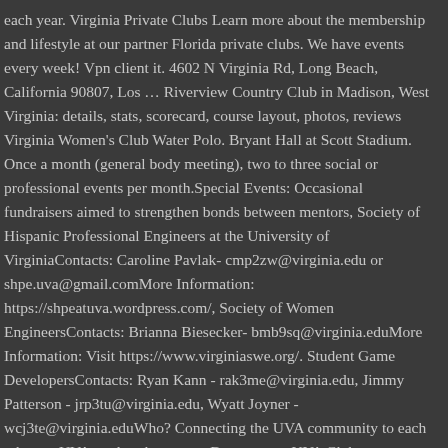each year. Virginia Private Clubs Learn more about the membership and lifestyle at our partner Florida private clubs. We have events every week! Vpn client it. 4602 N Virginia Rd, Long Beach, California 90807, Los … Riverview Country Club in Madison, West Virginia: details, stats, scorecard, course layout, photos, reviews Virginia Women's Club Water Polo. Bryant Hall at Scott Stadium. Once a month (general body meeting), two to three social or professional events per month.Special Events: Occasional fundraisers aimed to strengthen bonds between mentors, Society of Hispanic Professional Engineers at the University of VirginiaContacts: Caroline Pavlak- cmp2zw@virginia.edu or shpe.uva@gmail.comMore Information: https://shpeatuva.wordpress.com/, Society of Women EngineersContacts: Brianna Biesecker- bmb9sq@virginia.eduMore Information: Visit https://www.virginiaswe.org/. Student Game DevelopersContacts: Ryan Kann - rak3me@virginia.edu, Jimmy Patterson - jrp3tu@virginia.edu, Wyatt Joyner - wcj3te@virginia.eduWho? Connecting the UVA community to each other, to UVA, and to the greater Boston area. UVA Clubs are geographic, regional networks made up of alumni, parents and friends interested in connecting with each other, their local